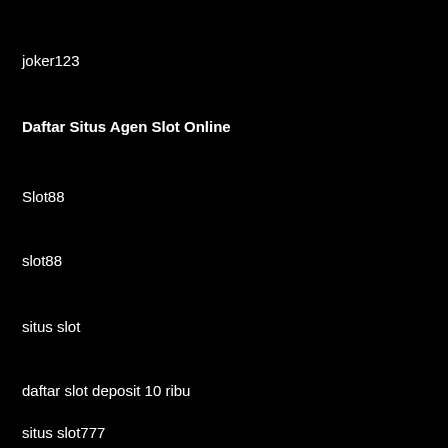joker123
Daftar Situs Agen Slot Online
Slot88
slot88
situs slot
daftar slot deposit 10 ribu
situs slot777